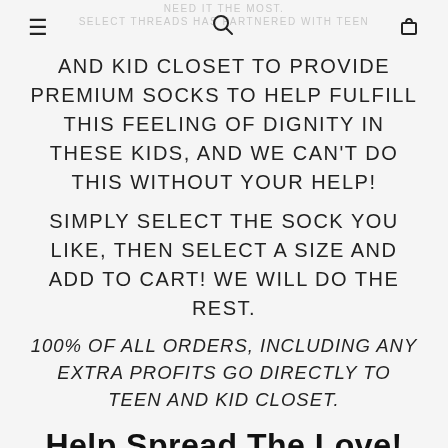NEED IT THE MOST. SELECT THREADS HAS PARTNERED WITH TEEN
AND KID CLOSET TO PROVIDE PREMIUM SOCKS TO HELP FULFILL THIS FEELING OF DIGNITY IN THESE KIDS, AND WE CAN'T DO THIS WITHOUT YOUR HELP!
SIMPLY SELECT THE SOCK YOU LIKE, THEN SELECT A SIZE AND ADD TO CART! WE WILL DO THE REST.
100% OF ALL ORDERS, INCLUDING ANY EXTRA PROFITS GO DIRECTLY TO TEEN AND KID CLOSET.
Help Spread The Love!